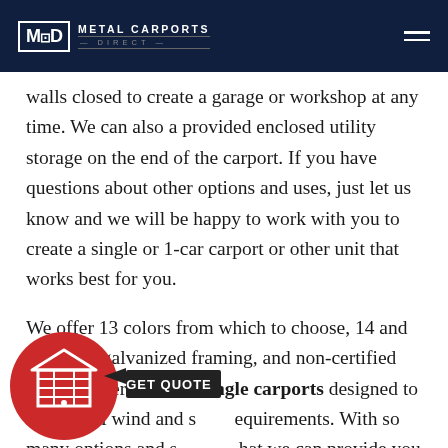MCD METAL CARPORTS DIRECT
walls closed to create a garage or workshop at any time. We can also a provided enclosed utility storage on the end of the carport. If you have questions about other options and uses, just let us know and we will be happy to work with you to create a single or 1-car carport or other unit that works best for you.

We offer 13 colors from which to choose, 14 and 12 gauge galvanized framing, and non-certified and engineer certified single carports designed to meet local wind and s[snow] requirements. With so many options and s[selections] that we can provide you with a[a carport] you will be pleased with for years to come.
[Figure (logo): Red circle icon with garage/house illustration and GET QUOTE arrow button overlay]